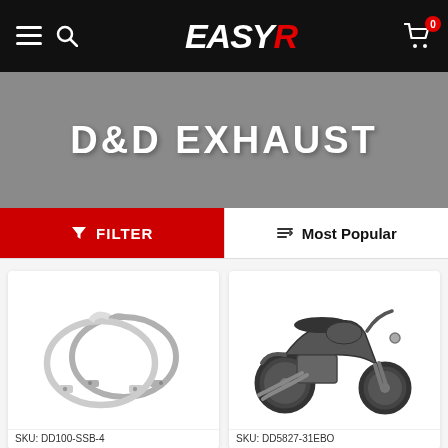EASYR — navigation header with hamburger menu, search icon, logo, and cart icon with badge 0
D&D EXHAUST
FILTER | Most Popular
[Figure (photo): Two stainless steel exhaust clamp bands/straps, circular, with bolt holes]
SKU: DD100-SSB-4
[Figure (photo): Black Harley-Davidson motorcycle (Dyna style) with aftermarket exhaust pipes, side view]
SKU: DD5827-31EBO